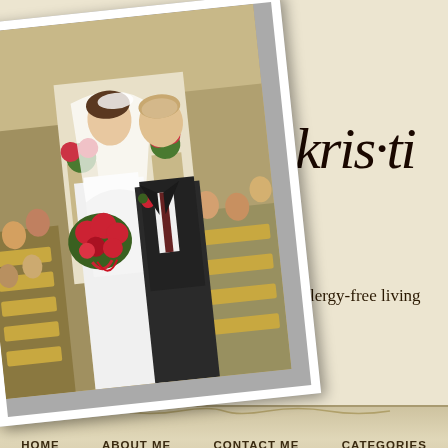[Figure (photo): Wedding photo of bride and groom at church ceremony, bride holding red bouquet, slightly rotated with white border]
kris·ti
Allergy-free living
HOME   ABOUT ME   CONTACT ME   CATEGORIES
Face Time
Filed Under: General
[Figure (photo): Partial image of what appears to be a face or person at bottom of page]
Jesse has had his heart set on getting us